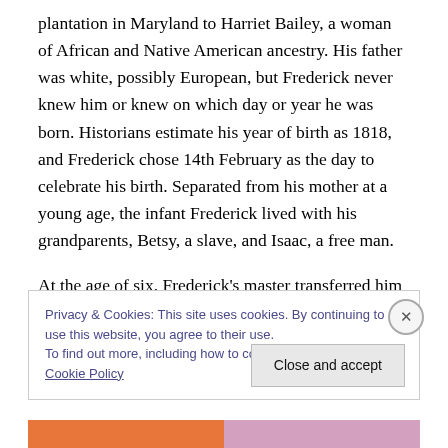plantation in Maryland to Harriet Bailey, a woman of African and Native American ancestry. His father was white, possibly European, but Frederick never knew him or knew on which day or year he was born. Historians estimate his year of birth as 1818, and Frederick chose 14th February as the day to celebrate his birth. Separated from his mother at a young age, the infant Frederick lived with his grandparents, Betsy, a slave, and Isaac, a free man.
At the age of six, Frederick's master transferred him to
Privacy & Cookies: This site uses cookies. By continuing to use this website, you agree to their use.
To find out more, including how to control cookies, see here: Cookie Policy
Close and accept